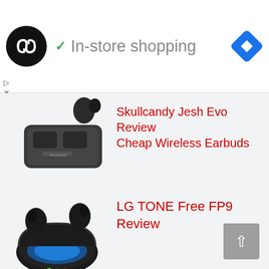[Figure (screenshot): Ad banner with circular black logo with infinity/arrow symbol, green checkmark, 'In-store shopping' text in gray, blue navigation diamond icon top right, and small play/close icons bottom left]
[Figure (photo): Skullcandy Jesh Evo true wireless earbuds and charging case in dark gray/black]
Skullcandy Jesh Evo Review Cheap Wireless Earbuds
[Figure (photo): LG TONE Free FP9 true wireless earbuds with open charging case showing blue light glow]
LG TONE Free FP9 Review
[Figure (photo): Jabra Elite 7 Pro true wireless earbuds with charging case, earbuds placed in front of case]
Jabra Elite 7 Pro Review